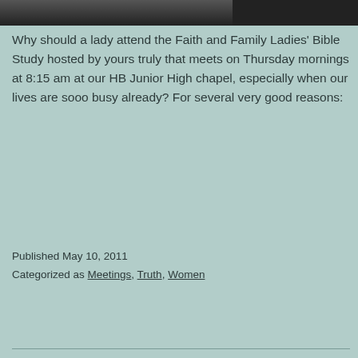[Figure (photo): Partial view of a photograph at the top of the page, showing a dark-toned image, cropped to a narrow strip.]
Why should a lady attend the Faith and Family Ladies' Bible Study hosted by yours truly that meets on Thursday mornings at 8:15 am at our HB Junior High chapel, especially when our lives are sooo busy already? For several very good reasons:
Published May 10, 2011
Categorized as Meetings, Truth, Women